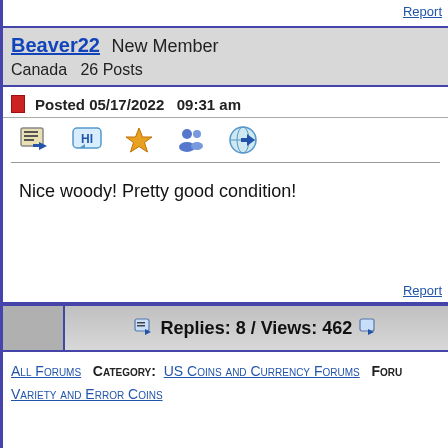Report
Beaver22  New Member
Canada  26 Posts
Posted 05/17/2022  09:31 am
Nice woody! Pretty good condition!
Report
Replies: 8 / Views: 462
All Forums  Category: US Coins and Currency Forums  Foru…
Variety and Error Coins